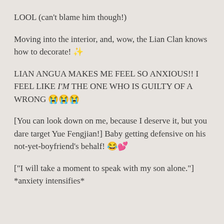LOOL (can't blame him though!)
Moving into the interior, and, wow, the Lian Clan knows how to decorate! ✨
LIAN ANGUA MAKES ME FEEL SO ANXIOUS!! I FEEL LIKE I'M THE ONE WHO IS GUILTY OF A WRONG 😭😭😭
[You can look down on me, because I deserve it, but you dare target Yue Fengjian!] Baby getting defensive on his not-yet-boyfriend's behalf! 😂💕
["I will take a moment to speak with my son alone."] *anxiety intensifies*